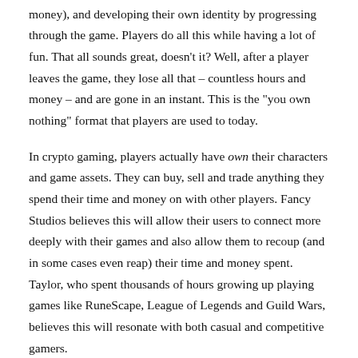character level, obtaining items (which can also cost real money), and developing their own identity by progressing through the game. Players do all this while having a lot of fun. That all sounds great, doesn't it? Well, after a player leaves the game, they lose all that – countless hours and money – and are gone in an instant. This is the "you own nothing" format that players are used to today.
In crypto gaming, players actually have own their characters and game assets. They can buy, sell and trade anything they spend their time and money on with other players. Fancy Studios believes this will allow their users to connect more deeply with their games and also allow them to recoup (and in some cases even reap) their time and money spent. Taylor, who spent thousands of hours growing up playing games like RuneScape, League of Legends and Guild Wars, believes this will resonate with both casual and competitive gamers.
The story goes on
The company was founded less than [year] ago, but its first title Fancy Birds